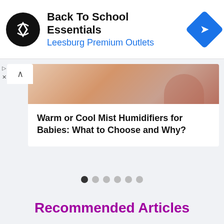[Figure (screenshot): Ad banner: Back To School Essentials at Leesburg Premium Outlets with logo and navigation icon]
[Figure (photo): Close-up photo of a baby's hand/skin, pinkish warm tones]
Warm or Cool Mist Humidifiers for Babies: What to Choose and Why?
[Figure (infographic): Pagination dots: 6 dots, first one filled dark, rest gray]
Recommended Articles